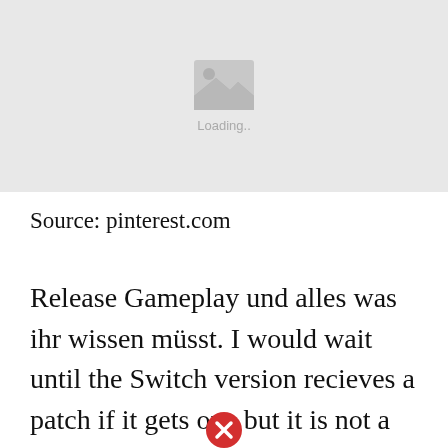[Figure (other): Image placeholder with loading icon showing a mountain/landscape icon and 'Loading...' text on a light grey background]
Source: pinterest.com
Release Gameplay und alles was ihr wissen müsst. I would wait until the Switch version recieves a patch if it gets one but it is not a complete deal breaker if anyone wants to